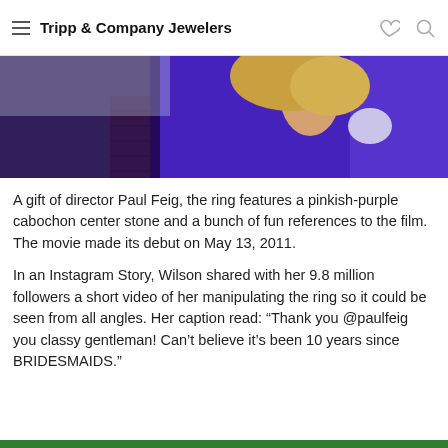Tripp & Company Jewelers
[Figure (photo): Photo showing a person in a purple/blue jacket viewed from behind, with blonde hair visible and a wooden surface (table or deck) in the background outdoors.]
A gift of director Paul Feig, the ring features a pinkish-purple cabochon center stone and a bunch of fun references to the film. The movie made its debut on May 13, 2011.
In an Instagram Story, Wilson shared with her 9.8 million followers a short video of her manipulating the ring so it could be seen from all angles. Her caption read: “Thank you @paulfeig you classy gentleman! Can’t believe it’s been 10 years since BRIDESMAIDS.”